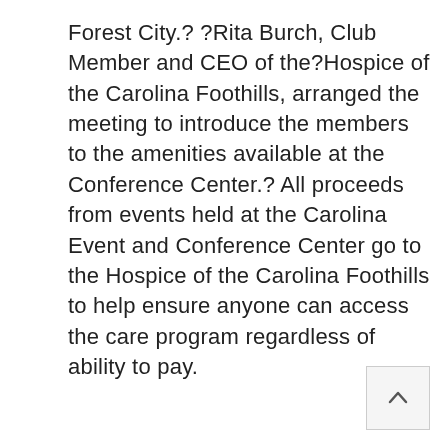Forest City.? ?Rita Burch, Club Member and CEO of the?Hospice of the Carolina Foothills, arranged the meeting to introduce the members to the amenities available at the Conference Center.? All proceeds from events held at the Carolina Event and Conference Center go to the Hospice of the Carolina Foothills to help ensure anyone can access the care program regardless of ability to pay.